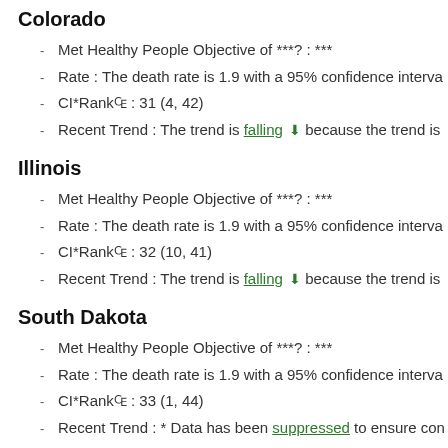Colorado
Met Healthy People Objective of ***?: ***
Rate : The death rate is 1.9 with a 95% confidence interva
CI*Rank⋕ : 31 (4, 42)
Recent Trend : The trend is falling ↓ because the trend is
Illinois
Met Healthy People Objective of ***?: ***
Rate : The death rate is 1.9 with a 95% confidence interva
CI*Rank⋕ : 32 (10, 41)
Recent Trend : The trend is falling ↓ because the trend is
South Dakota
Met Healthy People Objective of ***?: ***
Rate : The death rate is 1.9 with a 95% confidence interva
CI*Rank⋕ : 33 (1, 44)
Recent Trend : * Data has been suppressed to ensure con